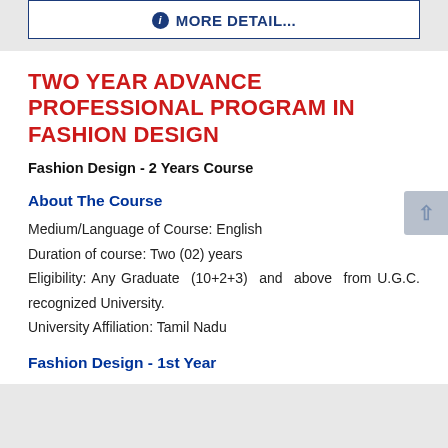ℹ MORE DETAIL...
TWO YEAR ADVANCE PROFESSIONAL PROGRAM IN FASHION DESIGN
Fashion Design - 2 Years Course
About The Course
Medium/Language of Course: English
Duration of course: Two (02) years
Eligibility: Any Graduate (10+2+3) and above from U.G.C. recognized University.
University Affiliation: Tamil Nadu
Fashion Design - 1st Year